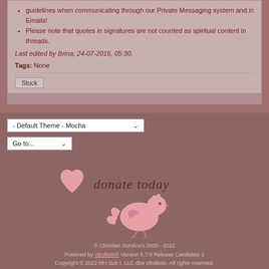guidelines when communicating through our Private Messaging system and in Emails!
Please note that quotes in signatures are not counted as spiritual content in threads.
Last edited by Brina; 24-07-2016, 05:30.
Tags: None
Stuck
- Default Theme - Mocha
Go to...
[Figure (illustration): Pink heart icon and pink bird illustration with donate today text]
© Christian Survivors 2000 - 2022
Powered by vBulletin® Version 5.7.0 Release Candidate 2
Copyright © 2022 MH Sub I, LLC dba vBulletin. All rights reserved.
All times are GMT. This page was generated at 19:39.